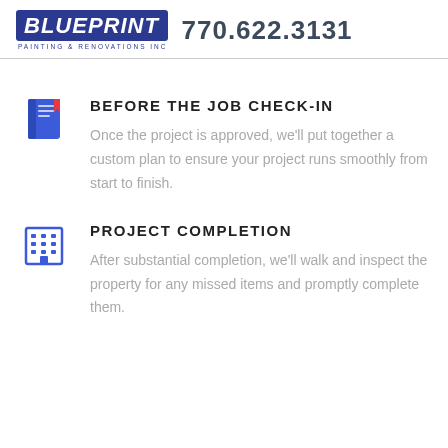BLUEPRINT PAINTING & RENOVATIONS INC  770.622.3131
[Figure (logo): Blueprint Painting & Renovations Inc logo — blue bold italic text on blue rectangle background with tagline below]
BEFORE THE JOB CHECK-IN
Once the project is approved, we'll put together a custom plan to ensure your project runs smoothly from start to finish.
PROJECT COMPLETION
After substantial completion, we'll walk and inspect the property for any missed items and promptly complete them.